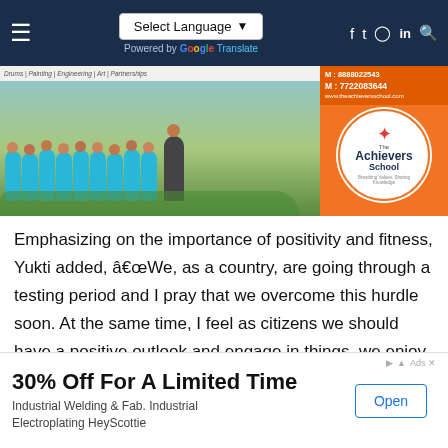Select Language ▾ | Powered by Google Translate | (social icons)
[Figure (photo): School banner showing The Achievers School with students in blue uniforms gathered outdoors with a teacher, alongside the school logo and contact numbers M:8888022543, M:7722083644, www.theachieversschool.com]
Emphasizing on the importance of positivity and fitness, Yukti added, â€œWe, as a country, are going through a testing period and I pray that we overcome this hurdle soon. At the same time, I feel as citizens we should have a positive outlook and engage in things, we enjoy doing at home which makes us happy. I am following an exciting
[Figure (other): Advertisement banner: 30% Off For A Limited Time - Industrial Welding & Fab. Industrial Electroplating HeyScottie - with Open button]